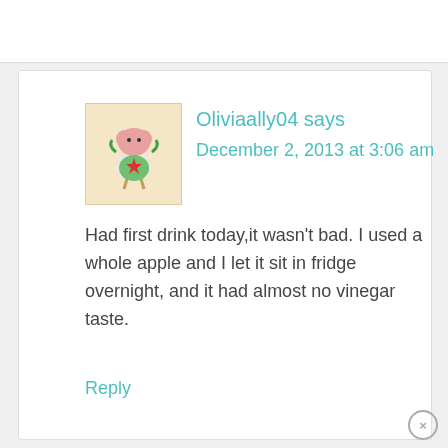Oliviaally04 says
December 2, 2013 at 3:06 am
[Figure (illustration): Avatar icon of a cartoon character with a pink brain-like head wearing a green outfit and holding a red star]
Had first drink today,it wasn't bad. I used a whole apple and I let it sit in fridge overnight, and it had almost no vinegar taste.
Reply
Germania says
December 10, 2013 at 10:20 am
[Figure (illustration): Avatar icon of a cartoon blue bunny/rabbit character]
Can I use honey instead of the sweetner?